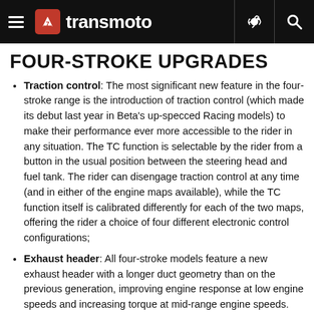transmoto
FOUR-STROKE UPGRADES
Traction control: The most significant new feature in the four-stroke range is the introduction of traction control (which made its debut last year in Beta's up-specced Racing models) to make their performance ever more accessible to the rider in any situation. The TC function is selectable by the rider from a button in the usual position between the steering head and fuel tank. The rider can disengage traction control at any time (and in either of the engine maps available), while the TC function itself is calibrated differently for each of the two maps, offering the rider a choice of four different electronic control configurations;
Exhaust header: All four-stroke models feature a new exhaust header with a longer duct geometry than on the previous generation, improving engine response at low engine speeds and increasing torque at mid-range engine speeds. The result is a more tractable power delivery across the entire rev range, letting the rider get themselves out of trouble more easily or